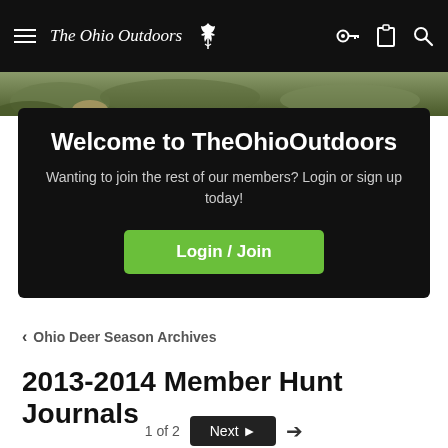The Ohio Outdoors
[Figure (photo): Green outdoor nature hero image strip]
Welcome to TheOhioOutdoors
Wanting to join the rest of our members? Login or sign up today!
Login / Join
< Ohio Deer Season Archives
2013-2014 Member Hunt Journals
1 of 2  Next ▶  →